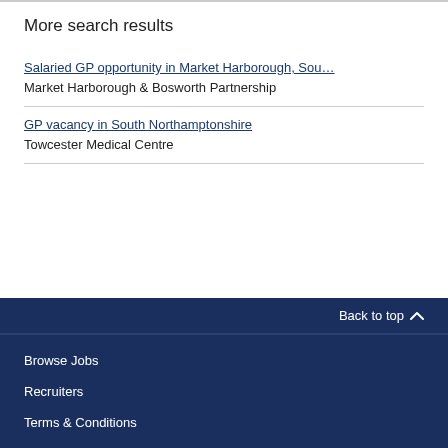More search results
Salaried GP opportunity in Market Harborough, Sou…
Market Harborough & Bosworth Partnership
GP vacancy in South Northamptonshire
Towcester Medical Centre
Back to top
Browse Jobs
Recruiters
Terms & Conditions